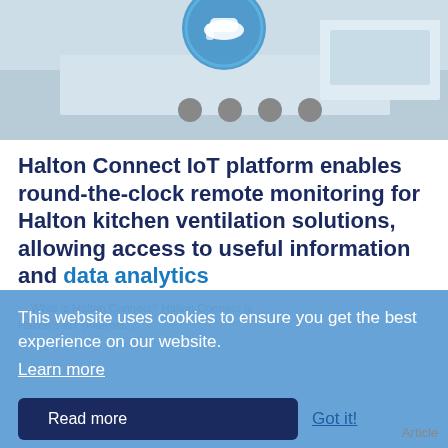[Figure (photo): Kitchen ventilation equipment photo with a blue circular icon overlay (hand holding items), professional kitchen environment in background]
Halton Connect IoT platform enables round-the-clock remote monitoring for Halton kitchen ventilation solutions, allowing access to useful information and data analytics
What is Halton Connect? Halton Connect is Halton's IoT (Internet...
This website uses cookies to ensure you get the best experience on our website. Learn more
Read more
Got it!
Article